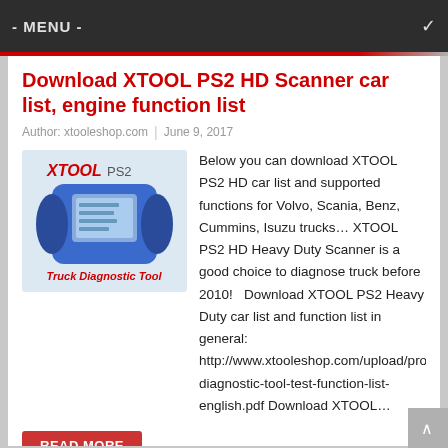- MENU -
Download XTOOL PS2 HD Scanner car list, engine function list
Author: xtooleshop.com  |  June 9, 2017
[Figure (photo): XTOOL PS2 heavy duty truck diagnostic tool scanner device, blue handheld unit with screen, labeled 'Truck Diagnostic Tool']
Below you can download XTOOL PS2 HD car list and supported functions for Volvo, Scania, Benz, Cummins, Isuzu trucks… XTOOL PS2 HD Heavy Duty Scanner is a good choice to diagnose truck before 2010!   Download XTOOL PS2 Heavy Duty car list and function list in general: http://www.xtooleshop.com/upload/pro/201706/ps2-diagnostic-tool-test-function-list-english.pdf Download XTOOL…
READ MORE